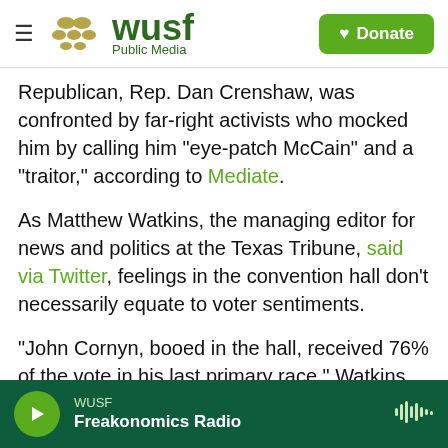WUSF Public Media — Donate button
Republican, Rep. Dan Crenshaw, was confronted by far-right activists who mocked him by calling him "eye-patch McCain" and a "traitor," according to Mediate.
As Matthew Watkins, the managing editor for news and politics at the Texas Tribune, said via Twitter, feelings in the convention hall don't necessarily equate to voter sentiments.
"John Cornyn, booed in the hall, received 76% of the vote in his last primary race," Watkins said. "Greg Abbott, who didn't give a speech, received 67%. Ken Paxton, who got a standing ovation, received 43%
WUSF — Freakonomics Radio